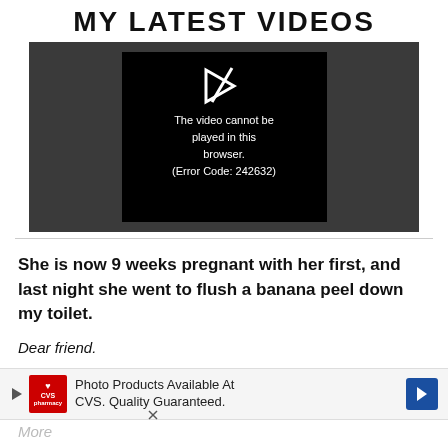MY LATEST VIDEOS
[Figure (screenshot): Video player showing error: 'The video cannot be played in this browser. (Error Code: 242632)']
She is now 9 weeks pregnant with her first, and last night she went to flush a banana peel down my toilet.
Dear friend.
Photo Products Available At CVS. Quality Guaranteed.